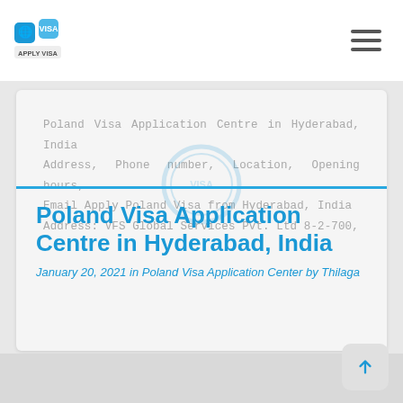Poland Visa Application Centre in Hyderabad, India
Poland Visa Application Centre in Hyderabad, India Address, Phone number, Location, Opening hours, Email Apply Poland Visa from Hyderabad, India Address: VFS Global Services Pvt. Ltd 8-2-700,
Poland Visa Application Centre in Hyderabad, India
January 20, 2021  in Poland Visa Application Center by Thilaga